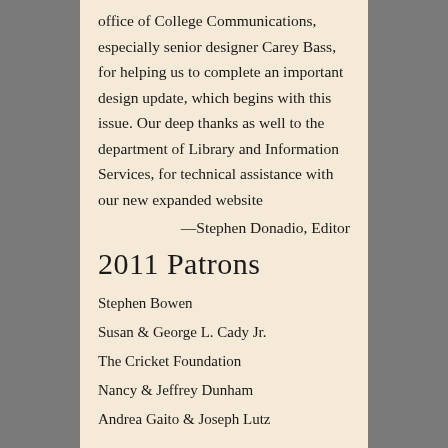office of College Communications, especially senior designer Carey Bass, for helping us to complete an important design update, which begins with this issue. Our deep thanks as well to the department of Library and Information Services, for technical assistance with our new expanded website
—Stephen Donadio, Editor
2011 Patrons
Stephen Bowen
Susan & George L. Cady Jr.
The Cricket Foundation
Nancy & Jeffrey Dunham
Andrea Gaito & Joseph Lutz